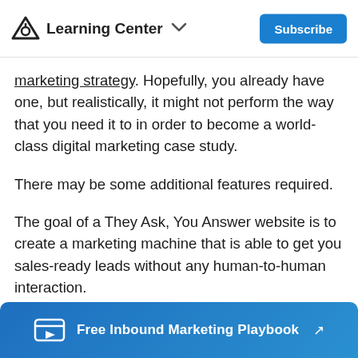Learning Center   ∨   Subscribe
marketing strategy. Hopefully, you already have one, but realistically, it might not perform the way that you need it to in order to become a world-class digital marketing case study.
There may be some additional features required.
The goal of a They Ask, You Answer website is to create a marketing machine that is able to get you sales-ready leads without any human-to-human interaction.
So, you need to make sure that website visitors
Free Inbound Marketing Playbook ↗